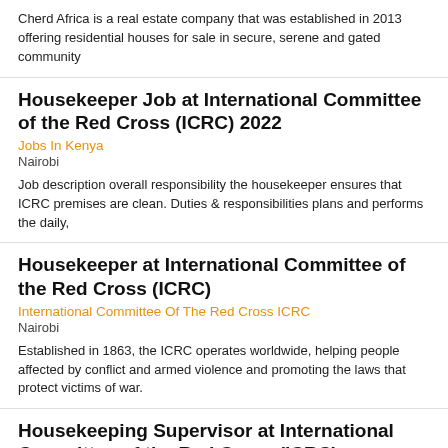Cherd Africa is a real estate company that was established in 2013 offering residential houses for sale in secure, serene and gated community
Housekeeper Job at International Committee of the Red Cross (ICRC) 2022
Jobs In Kenya
Nairobi
Job description overall responsibility the housekeeper ensures that ICRC premises are clean. Duties & responsibilities plans and performs the daily,
Housekeeper at International Committee of the Red Cross (ICRC)
International Committee Of The Red Cross ICRC
Nairobi
Established in 1863, the ICRC operates worldwide, helping people affected by conflict and armed violence and promoting the laws that protect victims of war.
Housekeeping Supervisor at International Committee of the Red Cross (ICRC)
Jobs In Kenya
Nairobi
Job description overall responsibility the housekeeper supervisor ensures that ICRC premises are clean. Duties & responsibilities plans and performs the daily,